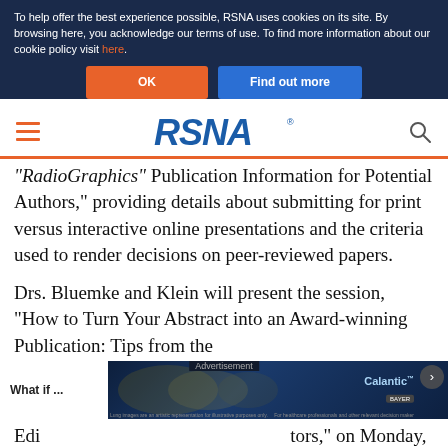To help offer the best experience possible, RSNA uses cookies on its site. By browsing here, you acknowledge our terms of use. To find more information about our cookie policy visit here.
OK | Find out more
[Figure (logo): RSNA logo with hamburger menu icon on left and search icon on right]
"RadioGraphics" Publication Information for Potential Authors," providing details about submitting for print versus interactive online presentations and the criteria used to render decisions on peer-reviewed papers.
Drs. Bluemke and Klein will present the session, "How to Turn Your Abstract into an Award-winning Publication: Tips from the Editors," on Monday, November 27,
[Figure (screenshot): Advertisement overlay showing 'What if ...' text on white background, lung X-ray image, Calantic Bayer logo, and close button]